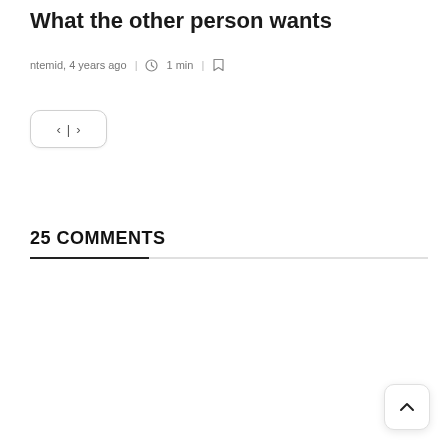What the other person wants
ntemid, 4 years ago | 1 min |
[Figure (other): Navigation buttons with left and right chevrons separated by a vertical bar, in a rounded rectangle button]
25 COMMENTS
[Figure (other): Back to top button with upward chevron in a rounded square]